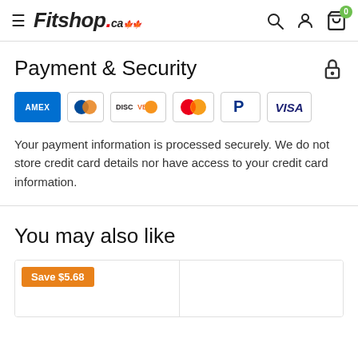Fitshop.ca — navigation header with search, account, cart (0)
Payment & Security
[Figure (other): Payment method icons: American Express, Diners Club, Discover, Mastercard, PayPal, Visa]
Your payment information is processed securely. We do not store credit card details nor have access to your credit card information.
You may also like
[Figure (other): Product card with Save $5.68 orange badge]